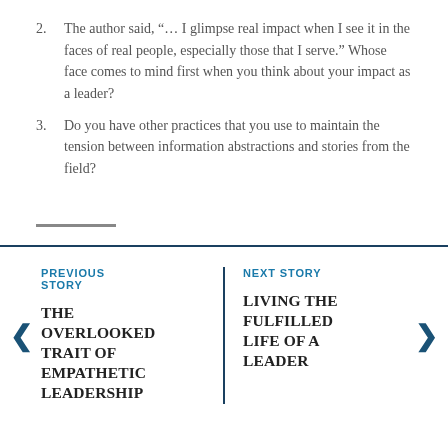2. The author said, "… I glimpse real impact when I see it in the faces of real people, especially those that I serve.” Whose face comes to mind first when you think about your impact as a leader?
3. Do you have other practices that you use to maintain the tension between information abstractions and stories from the field?
PREVIOUS STORY
THE OVERLOOKED TRAIT OF EMPATHETIC LEADERSHIP
NEXT STORY
LIVING THE FULFILLED LIFE OF A LEADER